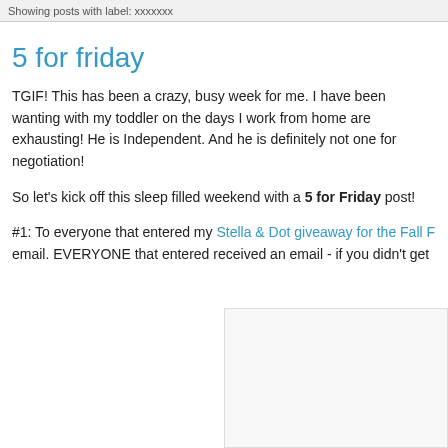Showing posts with label: xxxxxxx
5 for friday
TGIF! This has been a crazy, busy week for me. I have been wanting with my toddler on the days I work from home are exhausting! He is Independent. And he is definitely not one for negotiation!
So let's kick off this sleep filled weekend with a 5 for Friday post!
#1: To everyone that entered my Stella & Dot giveaway for the Fall F email. EVERYONE that entered received an email - if you didn't get
[Figure (photo): Partially visible image placeholder, light gray background with border]